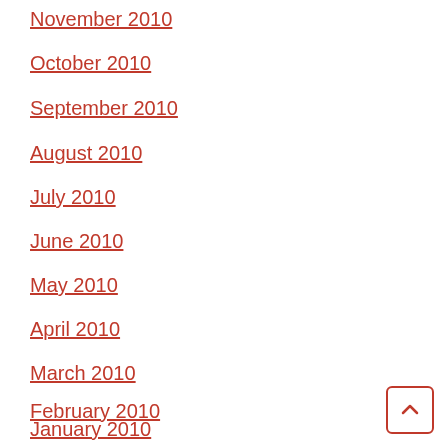November 2010
October 2010
September 2010
August 2010
July 2010
June 2010
May 2010
April 2010
March 2010
February 2010
January 2010